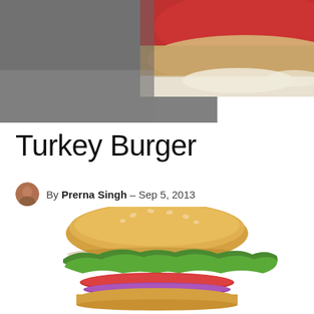[Figure (photo): Close-up photo of a turkey burger being held, showing the bun top with melted cheese and patty visible, reddish background tones]
Turkey Burger
By Prerna Singh – Sep 5, 2013
[Figure (photo): Turkey burger with sesame seed bun, lettuce, tomato, and red onion on white background, viewed from the side]